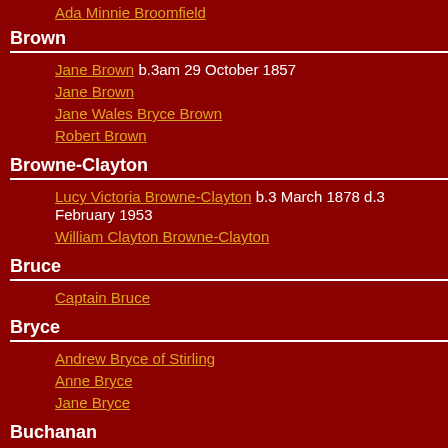Ada Minnie Broomfield
Brown
Jane Brown b.3am 29 October 1857
Jane Brown
Jane Wales Bryce Brown
Robert Brown
Browne-Clayton
Lucy Victoria Browne-Clayton b.3 March 1878 d.3 February 1953
William Clayton Browne-Clayton
Bruce
Captain Bruce
Bryce
Andrew Bryce of Stirling
Anne Bryce
Jane Bryce
Buchanan